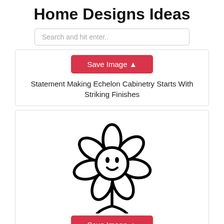Home Designs Ideas
Search and hit enter..
[Figure (other): Save Image button with cloud upload icon, red background]
Statement Making Echelon Cabinetry Starts With Striking Finishes
[Figure (illustration): A simple black line drawing of a smiling daisy flower with a smiley face center, petals, and stem with roots]
[Figure (other): Save Image button with cloud upload icon, red background]